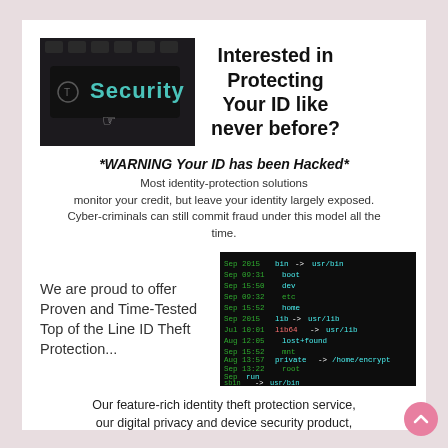[Figure (photo): Dark keyboard with 'Security' text glowing in teal/blue, with a cursor hand pointer]
Interested in Protecting Your ID like never before?
*WARNING Your ID has been Hacked*
Most identity-protection solutions monitor your credit, but leave your identity largely exposed. Cyber-criminals can still commit fraud under this model all the time.
We are proud to offer Proven and Time-Tested Top of the Line ID Theft Protection...
[Figure (screenshot): Terminal/command-line screenshot showing green and blue text on black background, listing Linux directory structure with dates]
Our feature-rich identity theft protection service, our digital privacy and device security product, to provide an end-to-end solution that puts a 360 degree seal of security around your identity, devices and much more, protection 24/7